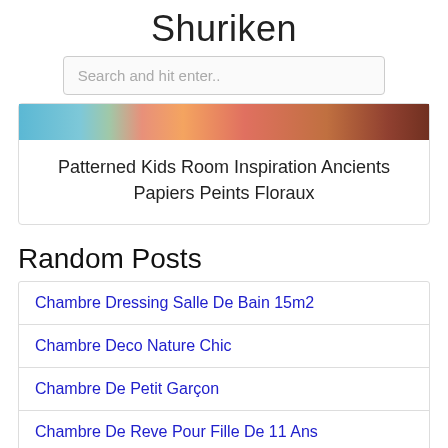Shuriken
Search and hit enter..
[Figure (photo): Decorative image showing patterned fabrics and floral wallpapers in blue, pink, orange, and brown tones]
Patterned Kids Room Inspiration Ancients Papiers Peints Floraux
Random Posts
Chambre Dressing Salle De Bain 15m2
Chambre Deco Nature Chic
Chambre De Petit Garçon
Chambre De Reve Pour Fille De 11 Ans